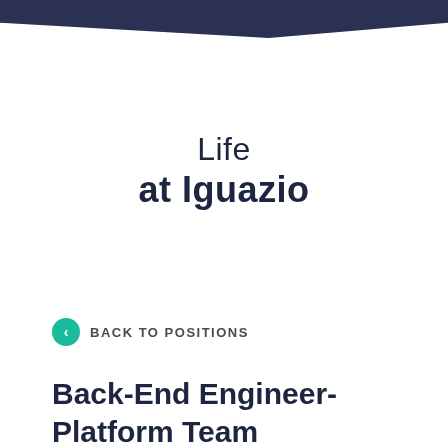Life
at Iguazio
< BACK TO POSITIONS
Back-End Engineer- Platform Team